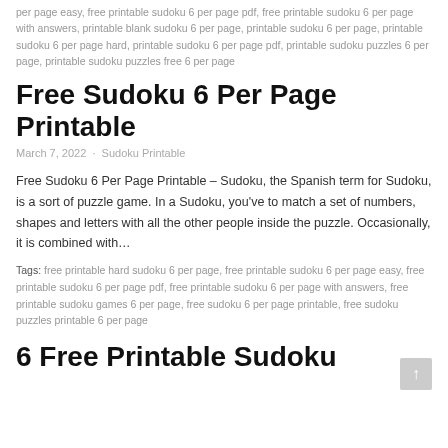per page easy, free printable sudoku 6 per page pdf, free printable sudoku 6 per page with answers, printable blank sudoku 6 per page, printable sudoku 6 per page, printable sudoku 6 per page hard, printable sudoku 6 per page pdf, printable sudoku puzzles 6 per page, printable sudoku puzzles free 6 per page
Free Sudoku 6 Per Page Printable
March 7, 2022 · Sudoku Printable
Free Sudoku 6 Per Page Printable – Sudoku, the Spanish term for Sudoku, is a sort of puzzle game. In a Sudoku, you've to match a set of numbers, shapes and letters with all the other people inside the puzzle. Occasionally, it is combined with…
Tags: free printable hard sudoku 6 per page, free printable sudoku 6 per page easy, free printable sudoku 6 per page pdf, free printable sudoku 6 per page with answers, free printable sudoku games 6 per page, free sudoku 6 per page printable, free sudoku puzzles printable 6 per page
6 Free Printable Sudoku